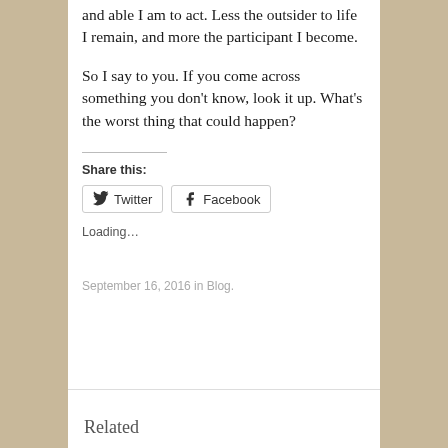and able I am to act. Less the outsider to life I remain, and more the participant I become.
So I say to you. If you come across something you don't know, look it up. What's the worst thing that could happen?
Share this:
Twitter  Facebook
Loading...
September 16, 2016 in Blog.
Related